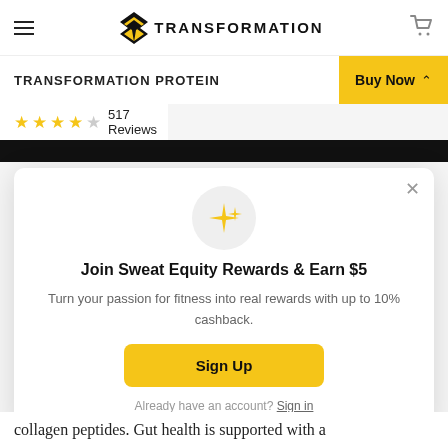TRANSFORMATION
TRANSFORMATION PROTEIN
★★★★☆ 517 Reviews
[Figure (infographic): Modal popup with sparkle icon, heading 'Join Sweat Equity Rewards & Earn $5', body text, Sign Up button, and Sign in link]
collagen peptides. Gut health is supported with a